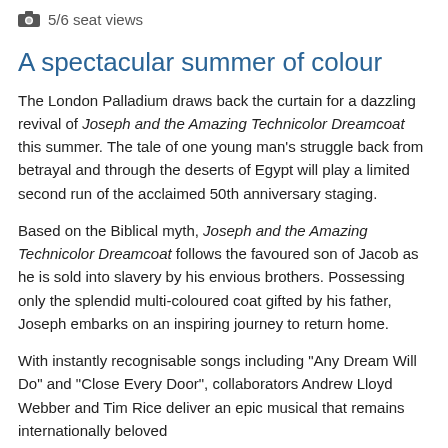5/6 seat views
A spectacular summer of colour
The London Palladium draws back the curtain for a dazzling revival of Joseph and the Amazing Technicolor Dreamcoat this summer. The tale of one young man's struggle back from betrayal and through the deserts of Egypt will play a limited second run of the acclaimed 50th anniversary staging.
Based on the Biblical myth, Joseph and the Amazing Technicolor Dreamcoat follows the favoured son of Jacob as he is sold into slavery by his envious brothers. Possessing only the splendid multi-coloured coat gifted by his father, Joseph embarks on an inspiring journey to return home.
With instantly recognisable songs including "Any Dream Will Do" and "Close Every Door", collaborators Andrew Lloyd Webber and Tim Rice deliver an epic musical that remains internationally beloved